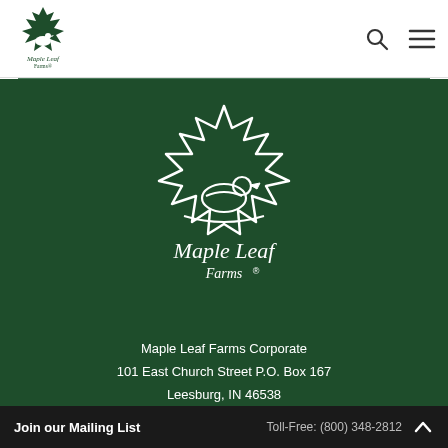[Figure (logo): Maple Leaf Farms logo in header - small green maple leaf with duck silhouette and text]
[Figure (logo): Maple Leaf Farms large white logo on dark green background - maple leaf with duck silhouette and cursive text]
Maple Leaf Farms Corporate
101 East Church Street P.O. Box 167
Leesburg, IN 46538
Join our Mailing List
Toll-Free: (800) 348-2812